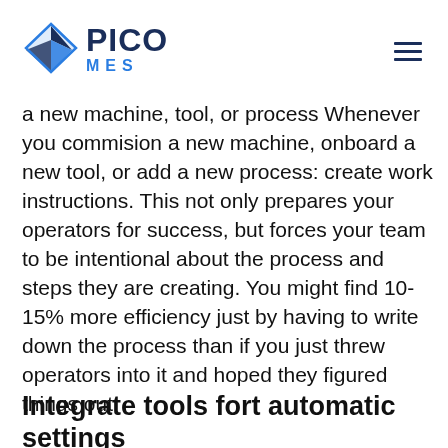PICO MES
a new machine, tool, or process Whenever you commision a new machine, onboard a new tool, or add a new process: create work instructions. This not only prepares your operators for success, but forces your team to be intentional about the process and steps they are creating. You might find 10-15% more efficiency just by having to write down the process than if you just threw operators into it and hoped they figured things out.
Integrate tools fort automatic settings